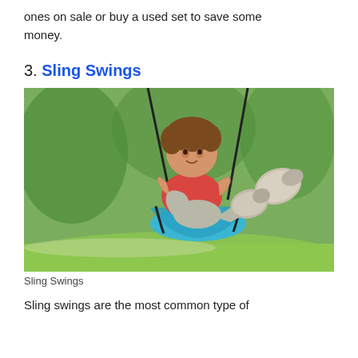ones on sale or buy a used set to save some money.
3. Sling Swings
[Figure (photo): A smiling child with curly hair riding a blue sling swing outdoors, gripping the ropes and lifting their feet up, wearing a red shirt and sneakers, with green trees and grass in the background.]
Sling Swings
Sling swings are the most common type of